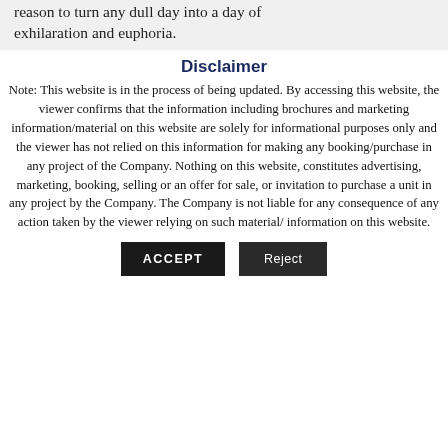reason to turn any dull day into a day of exhilaration and euphoria.
Disclaimer
Note: This website is in the process of being updated. By accessing this website, the viewer confirms that the information including brochures and marketing information/material on this website are solely for informational purposes only and the viewer has not relied on this information for making any booking/purchase in any project of the Company. Nothing on this website, constitutes advertising, marketing, booking, selling or an offer for sale, or invitation to purchase a unit in any project by the Company. The Company is not liable for any consequence of any action taken by the viewer relying on such material/ information on this website.
ACCEPT
Reject